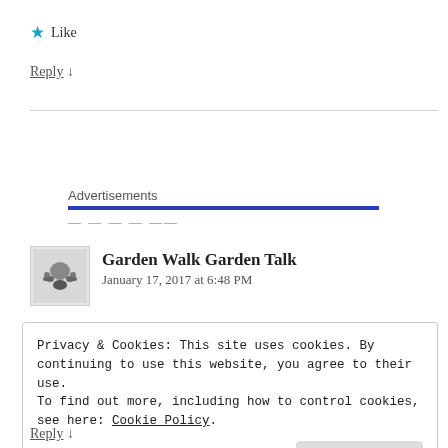★ Like
Reply ↓
Advertisements
Garden Walk Garden Talk
January 17, 2017 at 6:48 PM
Privacy & Cookies: This site uses cookies. By continuing to use this website, you agree to their use.
To find out more, including how to control cookies, see here: Cookie Policy
Close and accept
Reply ↓